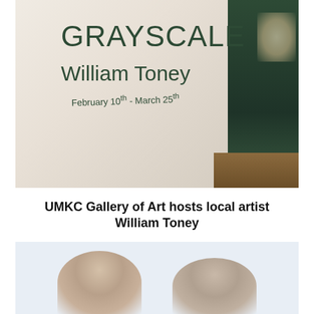[Figure (photo): Photo of a gallery wall sign reading 'GRAYSCALE William Toney February 10th - March 25th' on a cream/off-white wall with a dark green wall section on the right side]
UMKC Gallery of Art hosts local artist William Toney
[Figure (photo): Photo showing two people partially visible from the shoulders/head up against a light blue-grey background]